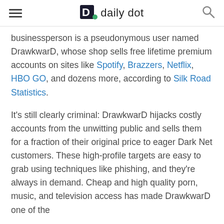daily dot
businessperson is a pseudonymous user named DrawkwarD, whose shop sells free lifetime premium accounts on sites like Spotify, Brazzers, Netflix, HBO GO, and dozens more, according to Silk Road Statistics.
It’s still clearly criminal: DrawkwarD hijacks costly accounts from the unwitting public and sells them for a fraction of their original price to eager Dark Net customers. These high-profile targets are easy to grab using techniques like phishing, and they’re always in demand. Cheap and high quality porn, music, and television access has made DrawkwarD one of the